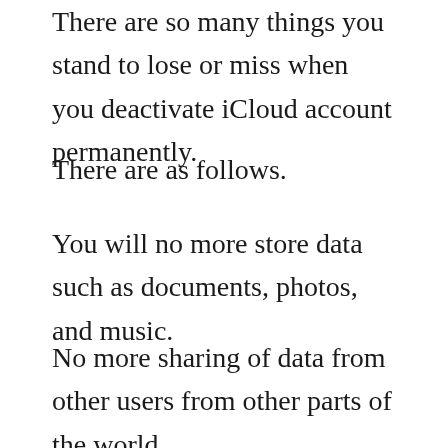There are so many things you stand to lose or miss when you deactivate iCloud account permanently.
There are as follows.
You will no more store data such as documents, photos, and music.
No more sharing of data from other users from other parts of the world.